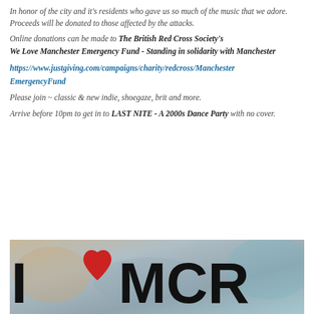In honor of the city and it's residents who gave us so much of the music that we adore.
Proceeds will be donated to those affected by the attacks.
Online donations can be made to The British Red Cross Society's We Love Manchester Emergency Fund - Standing in solidarity with Manchester
https://www.justgiving.com/campaigns/charity/redcross/ManchesterEmergencyFund
Please join ~ classic & new indie, shoegaze, brit and more.
Arrive before 10pm to get in to LAST NITE - A 2000s Dance Party with no cover.
[Figure (photo): Photo showing 'I LOVE MCR' text sign with a red heart, photographed outdoors with blurred background]